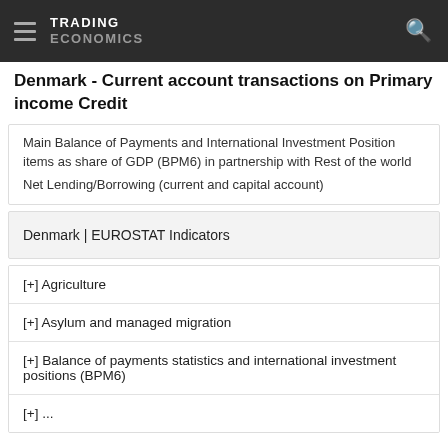TRADING ECONOMICS
Denmark - Current account transactions on Primary income Credit
Main Balance of Payments and International Investment Position items as share of GDP (BPM6) in partnership with Rest of the world
Net Lending/Borrowing (current and capital account)
Denmark | EUROSTAT Indicators
[+] Agriculture
[+] Asylum and managed migration
[+] Balance of payments statistics and international investment positions (BPM6)
[+] ...